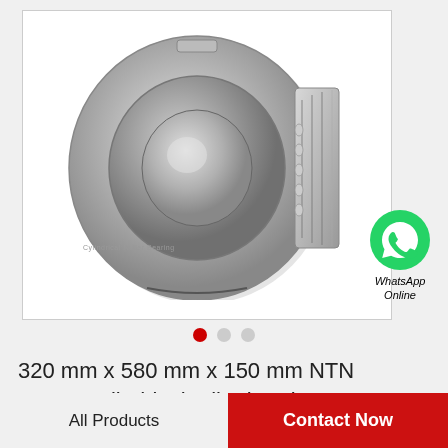[Figure (photo): Cylindrical roller bearing (NTN N2264) shown in side view, metallic silver color with visible roller cage and inner/outer rings, displayed against white background inside a bordered image frame.]
WhatsApp Online
[Figure (other): Three navigation dots: first dot is red (active), second and third are gray.]
320 mm x 580 mm x 150 mm NTN N2264 cylindrical roller bearings
All Products
Contact Now